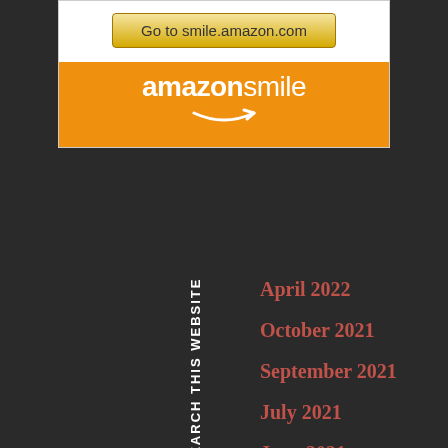[Figure (other): Amazon Smile widget with 'Go to smile.amazon.com' button and orange Amazon Smile logo bar with smile arrow]
SEARCH THIS WEBSITE
April 2022
October 2021
September 2021
July 2021
June 2021